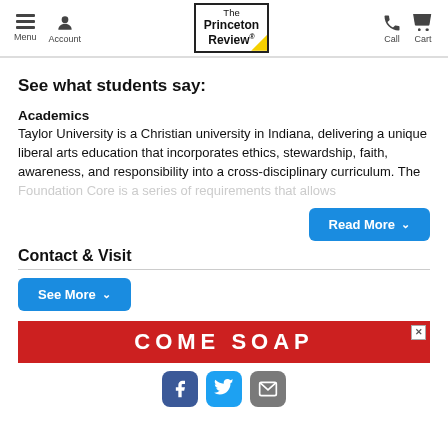The Princeton Review — Menu, Account, Call, Cart navigation
See what students say:
Academics
Taylor University is a Christian university in Indiana, delivering a unique liberal arts education that incorporates ethics, stewardship, faith, awareness, and responsibility into a cross-disciplinary curriculum. The Foundation Core is a series of requirements that allows
Contact & Visit
[Figure (screenshot): Red advertisement banner with white bold text reading 'COME SOAP' with a close (X) button in top right corner]
[Figure (infographic): Social sharing icons: Facebook (blue rounded square), Twitter (cyan rounded square), Email/envelope (gray rounded square)]